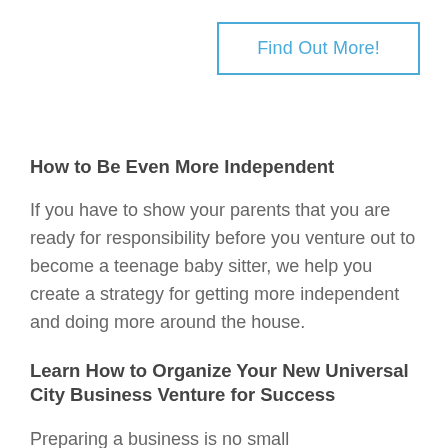Find Out More!
How to Be Even More Independent
If you have to show your parents that you are ready for responsibility before you venture out to become a teenage baby sitter, we help you create a strategy for getting more independent and doing more around the house.
Learn How to Organize Your New Universal City Business Venture for Success
Preparing a business is no small